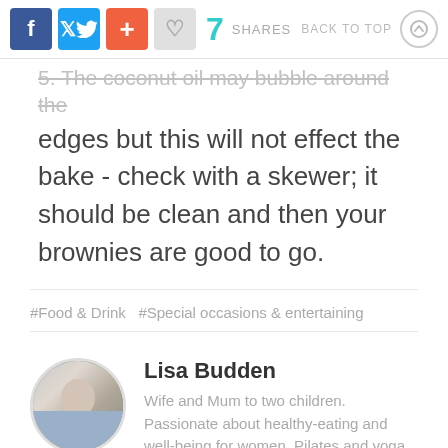7 SHARES  BACK TO TOP
5. The coconut oil may bubble around the edges but this will not effect the bake - check with a skewer; it should be clean and then your brownies are good to go.
#Food & Drink  #Special occasions & entertaining
Lisa Budden
Wife and Mum to two children. Passionate about healthy-eating and well-being for women. Pilates and yoga enthusiast. Totally addicted to rooibos tea and I love to fuel my